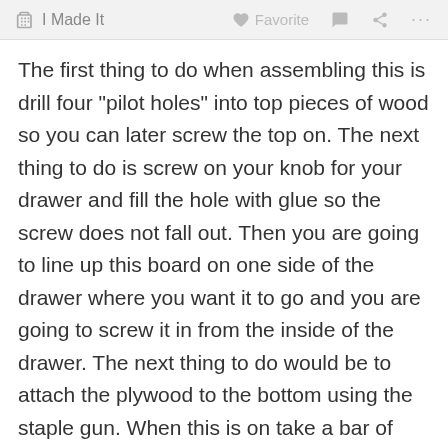I Made It   Favorite   ···
The first thing to do when assembling this is drill four "pilot holes" into top pieces of wood so you can later screw the top on. The next thing to do is screw on your knob for your drawer and fill the hole with glue so the screw does not fall out. Then you are going to line up this board on one side of the drawer where you want it to go and you are going to screw it in from the inside of the drawer. The next thing to do would be to attach the plywood to the bottom using the staple gun. When this is on take a bar of soap and soap it up so it will slide well. The more soap on it the more easily it will slide. The last thing fir you to do is to put the top on. The first step to doing this is putting the top on how you would like it. Then you will screw in through the "pilot holes". An optional